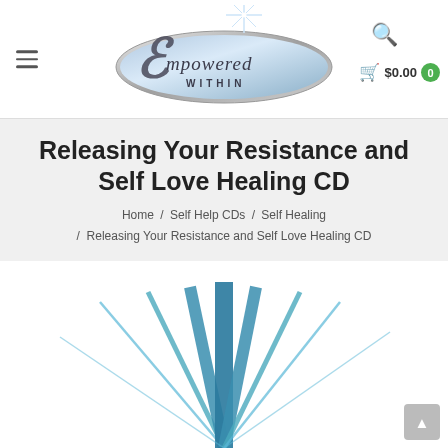[Figure (logo): Empowered Within logo — decorative script text in silver/blue oval with sparkle star graphic]
$0.00 0
Releasing Your Resistance and Self Love Healing CD
Home / Self Help CDs / Self Healing / Releasing Your Resistance and Self Love Healing CD
[Figure (photo): Bottom portion of product image showing blue starburst/sparkle rays on white background]